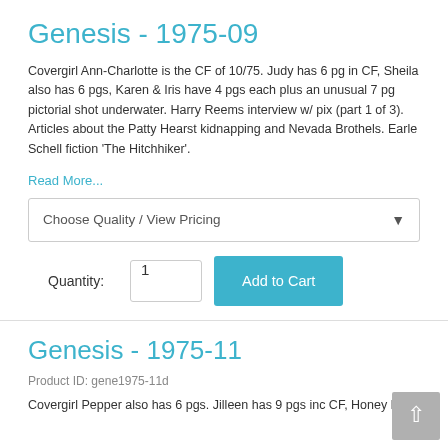Genesis - 1975-09
Covergirl Ann-Charlotte is the CF of 10/75. Judy has 6 pg in CF, Sheila also has 6 pgs, Karen & Iris have 4 pgs each plus an unusual 7 pg pictorial shot underwater. Harry Reems interview w/ pix (part 1 of 3). Articles about the Patty Hearst kidnapping and Nevada Brothels. Earle Schell fiction 'The Hitchhiker'.
Read More...
Choose Quality / View Pricing
Quantity: 1
Add to Cart
Genesis - 1975-11
Product ID: gene1975-11d
Covergirl Pepper also has 6 pgs. Jilleen has 9 pgs inc CF, Honey has